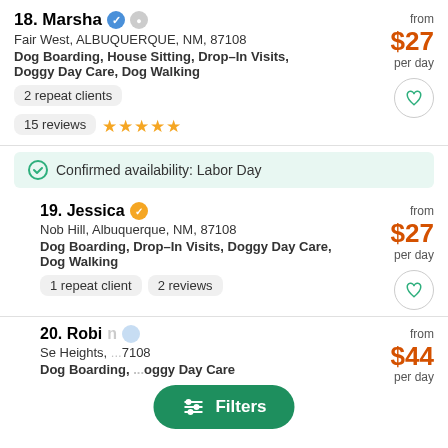18. Marsha
Fair West, ALBUQUERQUE, NM, 87108
Dog Boarding, House Sitting, Drop-In Visits, Doggy Day Care, Dog Walking
from $27 per day
2 repeat clients
15 reviews ★★★★★
Confirmed availability: Labor Day
19. Jessica
Nob Hill, Albuquerque, NM, 87108
Dog Boarding, Drop-In Visits, Doggy Day Care, Dog Walking
from $27 per day
1 repeat client
2 reviews
20. Robi...
Se Heights, ...7108
Dog Boarding, ...oggy Day Care
from $44 per day
Filters